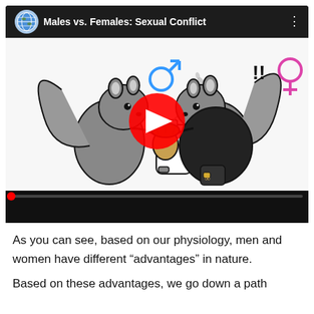[Figure (screenshot): YouTube video thumbnail showing two cartoon squirrels facing each other. The left squirrel (male, indicated by blue male symbol) holds a spray bottle with a heart on it. The right squirrel (female, indicated by pink female symbol) wears a black outfit and holds an acorn. A red YouTube play button is in the center. The video title is 'Males vs. Females: Sexual Conflict' with a channel globe icon at top left. Below the thumbnail is a black video controls bar.]
As you can see, based on our physiology, men and women have different “advantages” in nature. Based on these advantages, we go down a path